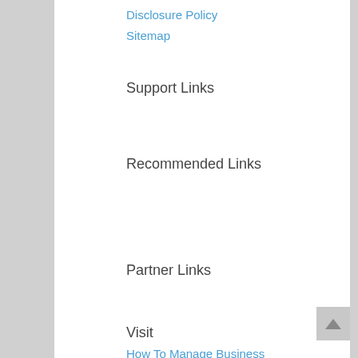Disclosure Policy
Sitemap
Support Links
Recommended Links
Partner Links
Visit
How To Manage Business